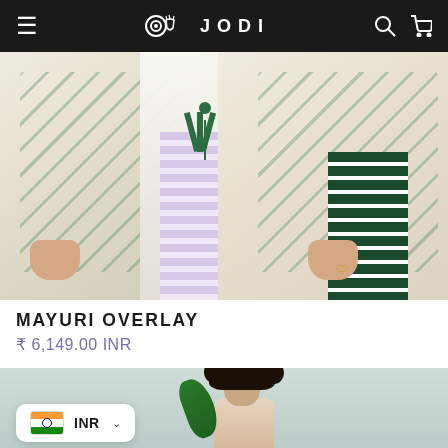JODI
[Figure (photo): Two women wearing floral block-print overlays with striped trousers, holding fabric, against a yellow background]
MAYURI OVERLAY
₹ 6,149.00 INR
[Figure (photo): Woman with curly hair holding a large green leaf, wearing an outfit, against a light background]
INR